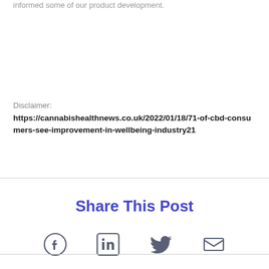informed some of our product development.
Disclaimer:
https://cannabishealthnews.co.uk/2022/01/18/71-of-cbd-consumers-see-improvement-in-wellbeing-industry21
Share This Post
[Figure (other): Social sharing icons: Facebook, LinkedIn, Twitter, Email]